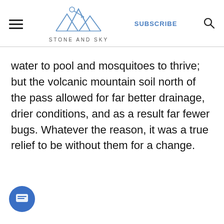STONE AND SKY — SUBSCRIBE
water to pool and mosquitoes to thrive; but the volcanic mountain soil north of the pass allowed for far better drainage, drier conditions, and as a result far fewer bugs. Whatever the reason, it was a true relief to be without them for a change.